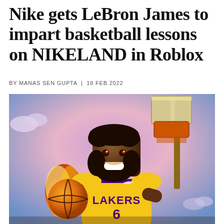Nike gets LeBron James to impart basketball lessons on NIKELAND in Roblox
BY MANAS SEN GUPTA | 18 FEB 2022
[Figure (photo): A Roblox-style 3D avatar of LeBron James wearing a yellow Lakers #6 jersey, holding a flaming basketball, standing in front of a basketball hoop. The background shows a cartoon-style sky with clouds and arena elements.]